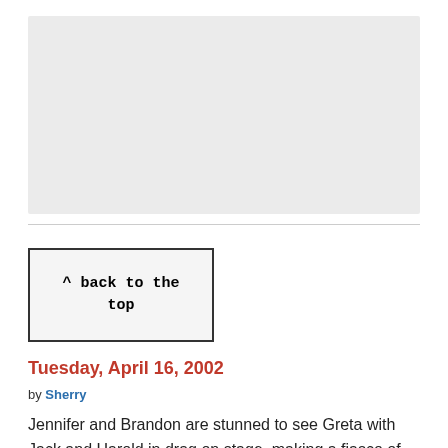[Figure (other): Gray placeholder image box]
^ back to the top
Tuesday, April 16, 2002
by Sherry
Jennifer and Brandon are stunned to see Greta with Jack and Harold in drag on stage, making a fiasco of the rehearsal. Jack sees Big Chauncey pull out a gun and is stricken with terror. Jack hits a dancer with the